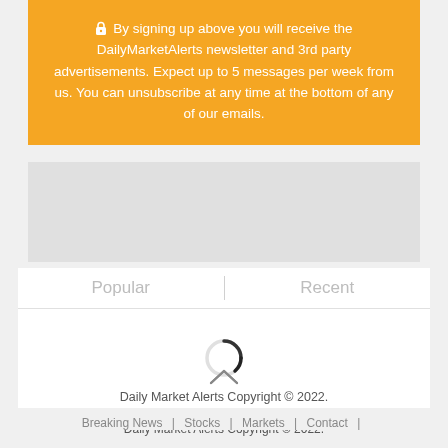🔒 By signing up above you will receive the DailyMarketAlerts newsletter and 3rd party advertisements. Expect up to 5 messages per week from us. You can unsubscribe at any time at the bottom of any of our emails.
[Figure (other): Gray advertisement placeholder box]
Popular | Recent
[Figure (other): Loading spinner (circular spinner icon, partially filled)]
Daily Market Alerts Copyright © 2022.
Breaking News | Stocks | Markets | Contact |